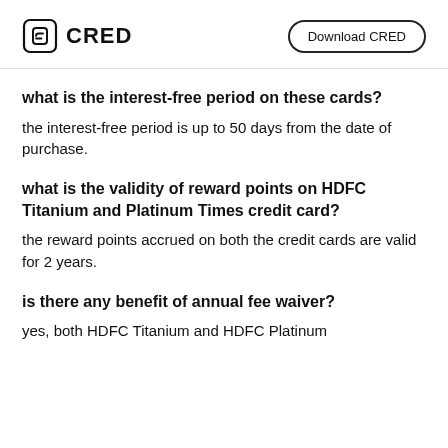CRED | Download CRED
what is the interest-free period on these cards?
the interest-free period is up to 50 days from the date of purchase.
what is the validity of reward points on HDFC Titanium and Platinum Times credit card?
the reward points accrued on both the credit cards are valid for 2 years.
is there any benefit of annual fee waiver?
yes, both HDFC Titanium and HDFC Platinum